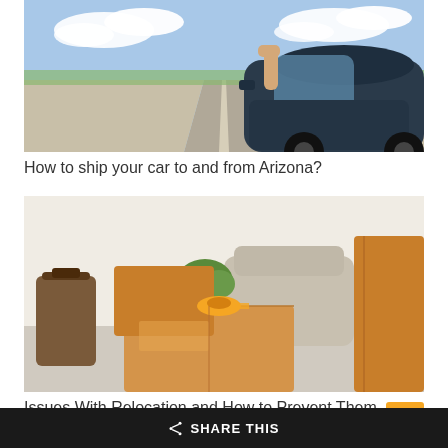[Figure (photo): A car on a rural road, person extending arm out of window, clear sky with clouds]
How to ship your car to and from Arizona?
[Figure (photo): Moving boxes, suitcase, potted plant, and a covered armchair in a room — relocation scene]
Issues With Relocation and How to Prevent Them
SHARE THIS